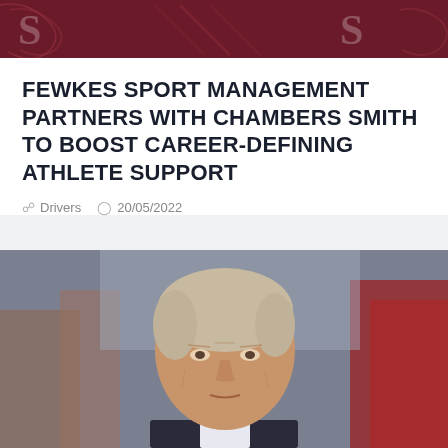[Figure (photo): Dark maroon/burgundy banner with stylized 'S' logo graphics on left and right sides, decorative sports management branding header]
FEWKES SPORT MANAGEMENT PARTNERS WITH CHAMBERS SMITH TO BOOST CAREER-DEFINING ATHLETE SUPPORT
Drivers  20/05/2022
[Figure (photo): Close-up portrait photo of a middle-aged man with silver-blonde swept-back hair, wearing a dark suit, looking directly at camera with a serious expression, blurred urban background]